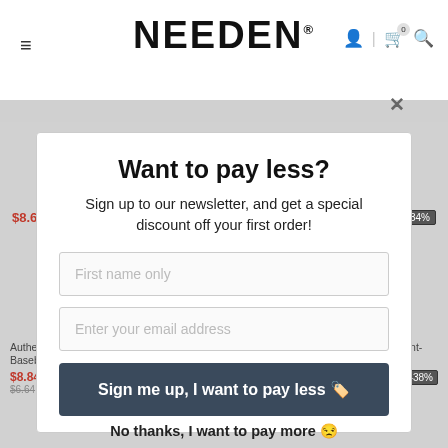[Figure (screenshot): Background of NEEDEN e-commerce website showing product listings with prices and discount badges, partially obscured by modal overlay]
Want to pay less?
Sign up to our newsletter, and get a special discount off your first order!
First name only
Enter your email address
Sign me up, I want to pay less 🏷️
No thanks, I want to pay more 😒